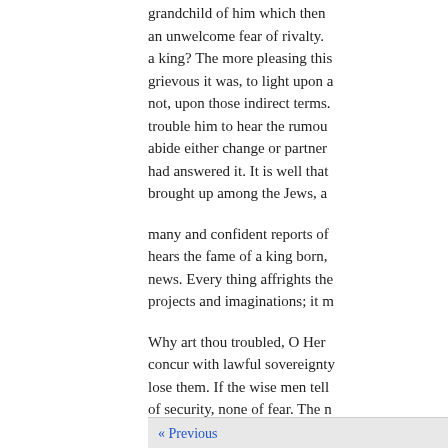grandchild of him which then an unwelcome fear of rivalty. a king? The more pleasing this grievous it was, to light upon a not, upon those indirect terms. trouble him to hear the rumour abide either change or partner. had answered it. It is well that brought up among the Jews, a
many and confident reports of hears the fame of a king born, news. Every thing affrights the projects and imaginations; it m
Why art thou troubled, O Her concur with lawful sovereignty lose them. If the wise men tell of security, none of fear. The n mistakings. If men could but k could receive nothing from the guilty of all wrongs and perse why was all Jerusalem trouble
« Previous